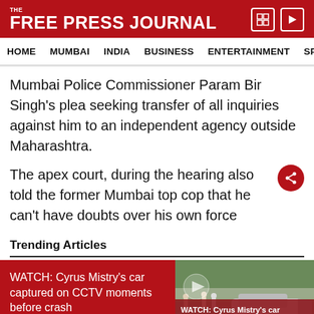THE FREE PRESS JOURNAL
HOME   MUMBAI   INDIA   BUSINESS   ENTERTAINMENT   SPO
Mumbai Police Commissioner Param Bir Singh's plea seeking transfer of all inquiries against him to an independent agency outside Maharashtra.
The apex court, during the hearing also told the former Mumbai top cop that he can't have doubts over his own force
Trending Articles
WATCH: Cyrus Mistry's car captured on CCTV moments before crash
[Figure (photo): Crashed car scene with people standing nearby, related to Cyrus Mistry accident]
WATCH: Cyrus Mistry's car captured on CCTV moments before crash